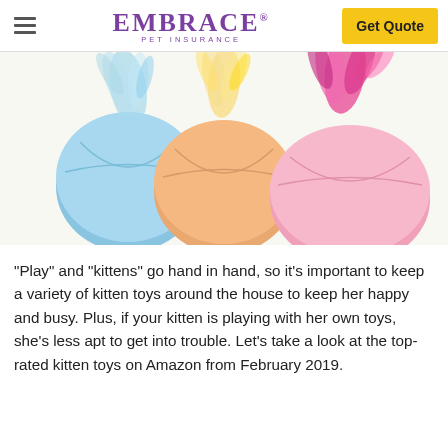EMBRACE PET INSURANCE — Get Quote
[Figure (photo): Three colorful round cat toy balls with feathers on top — one blue, one orange, and one pink — arranged side by side on a white background.]
“Play” and “kittens” go hand in hand, so it’s important to keep a variety of kitten toys around the house to keep her happy and busy. Plus, if your kitten is playing with her own toys, she’s less apt to get into trouble. Let’s take a look at the top-rated kitten toys on Amazon from February 2019.